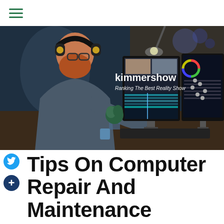kimmershow — Ranking The Best Reality Show
[Figure (photo): Person with headphones and beard sitting at a desk with multiple monitors showing video editing software in a dark studio environment. Text overlay reads 'kimmershow' and 'Ranking The Best Reality Show'.]
Tips On Computer Repair And Maintenance